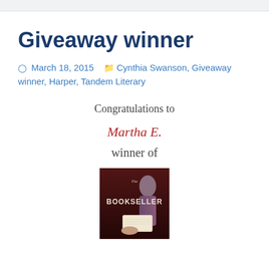Giveaway winner
March 18, 2015   Cynthia Swanson, Giveaway winner, Harper, Tandem Literary
Congratulations to
Martha E.
winner of
[Figure (photo): Book cover of 'The Bookseller' — dark red and purple tones, showing hands holding a book]